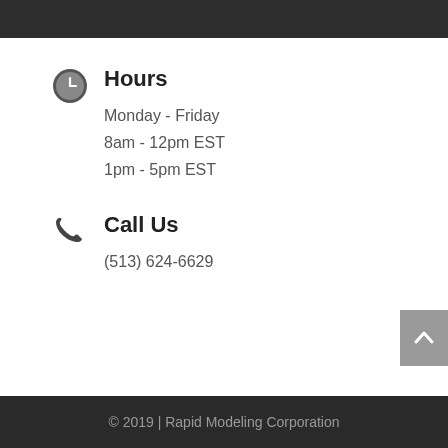Hours
Monday - Friday
8am - 12pm EST
1pm - 5pm EST
Call Us
(513) 624-6629
© 2019 | Rapid Modeling Corporation